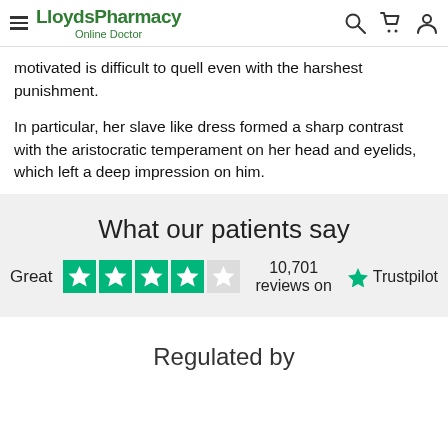LloydsPharmacy Online Doctor
motivated is difficult to quell even with the harshest punishment.
In particular, her slave like dress formed a sharp contrast with the aristocratic temperament on her head and eyelids, which left a deep impression on him.
What our patients say
Great  10,701 reviews on  Trustpilot
Regulated by